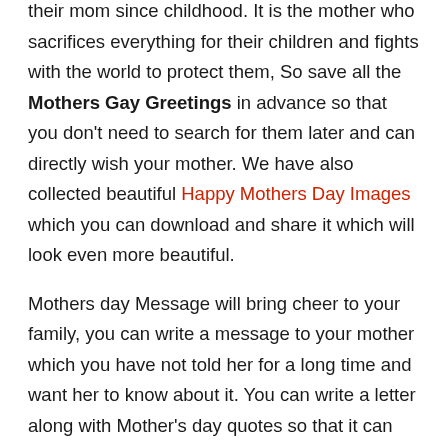their mom since childhood. It is the mother who sacrifices everything for their children and fights with the world to protect them, So save all the Mothers Gay Greetings in advance so that you don't need to search for them later and can directly wish your mother. We have also collected beautiful Happy Mothers Day Images which you can download and share it which will look even more beautiful.
Mothers day Message will bring cheer to your family, you can write a message to your mother which you have not told her for a long time and want her to know about it. You can write a letter along with Mother's day quotes so that it can add some value to the message you want to convey to your Mother.